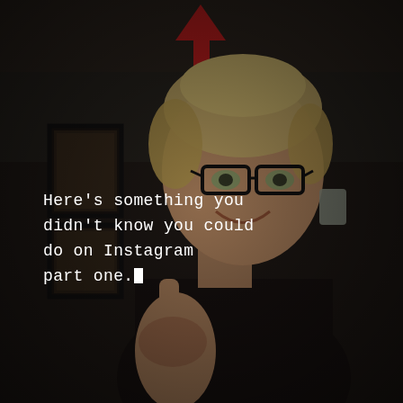[Figure (photo): A woman with short blonde hair and black glasses smiles at the camera, holding up one finger. She wears a black tank top. Behind her are framed pictures on a wall in a dark room. A red arrow graphic points upward in the upper center of the image. White monospace text overlays the image reading: Here's something you didn't know you could do on Instagram part one. A white cursor block follows the text.]
Here's something you didn't know you could do on Instagram part one.